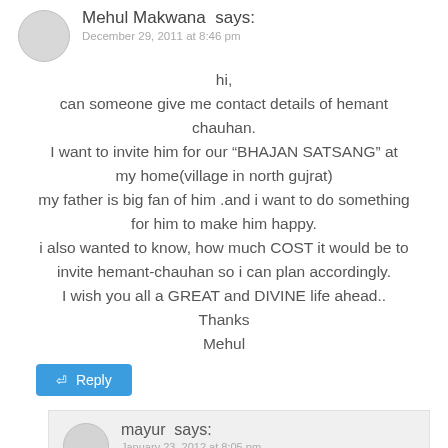Mehul Makwana says:
December 29, 2011 at 8:46 pm
hi,
can someone give me contact details of hemant chauhan.
I want to invite him for our “BHAJAN SATSANG” at my home(village in north gujrat)
my father is big fan of him .and i want to do something for him to make him happy.
i also wanted to know, how much COST it would be to invite hemant-chauhan so i can plan accordingly.
I wish you all a GREAT and DIVINE life ahead..
Thanks
Mehul
mayur says:
January 23, 2012 at 8:05 pm
call me on 9723543448